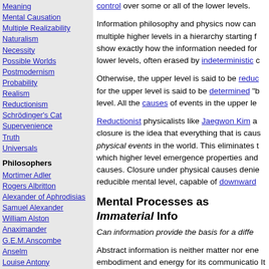Meaning
Mental Causation
Multiple Realizability
Naturalism
Necessity
Possible Worlds
Postmodernism
Probability
Realism
Reductionism
Schrödinger's Cat
Supervenience
Truth
Universals
Philosophers
Mortimer Adler
Rogers Albritton
Alexander of Aphrodisias
Samuel Alexander
William Alston
Anaximander
G.E.M.Anscombe
Anselm
Louise Antony
Thomas Aquinas
Aristotle
David Armstrong
Harald Atmanspacher
Robert Audi
Augustine
J.L.Austin
A.J.Ayer
Alexander Bain
Mark Balaguer
Jeffrey Barrett
control over some or all of the lower levels.
Information philosophy and physics now can multiple higher levels in a hierarchy starting from show exactly how the information needed for lower levels, often erased by indeterministic c
Otherwise, the upper level is said to be reducible for the upper level is said to be determined "b level. All the causes of events in the upper le
Reductionist physicalists like Jaegwon Kim a closure is the idea that everything that is caus physical events in the world. This eliminates t which higher level emergence properties and causes. Closure under physical causes denie reducible mental level, capable of downward
Mental Processes as Immaterial Info
Can information provide the basis for a diffe
Abstract information is neither matter nor ene embodiment and energy for its communicatio It is the modern spirit, the ghost in the machir
Immaterial information is perhaps as close as idea of a soul or spirit that departs the body a maintenance of biological and mental informa